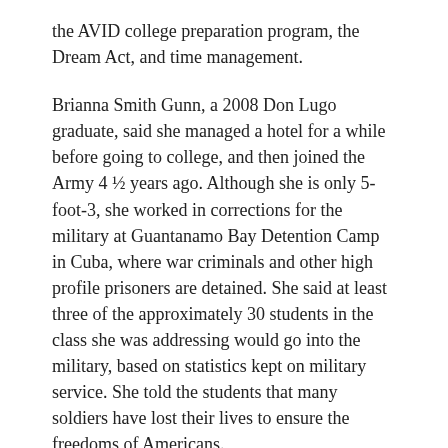the AVID college preparation program, the Dream Act, and time management.
Brianna Smith Gunn, a 2008 Don Lugo graduate, said she managed a hotel for a while before going to college, and then joined the Army 4 ½ years ago. Although she is only 5-foot-3, she worked in corrections for the military at Guantanamo Bay Detention Camp in Cuba, where war criminals and other high profile prisoners are detained. She said at least three of the approximately 30 students in the class she was addressing would go into the military, based on statistics kept on military service. She told the students that many soldiers have lost their lives to ensure the freedoms of Americans.
Don Lugo graduate Albert Perez, who said he was the first in his family to attend college, talked about how three-dimensional printing is used in the bio-medical engineering field he is studying. He passed around two of the items he